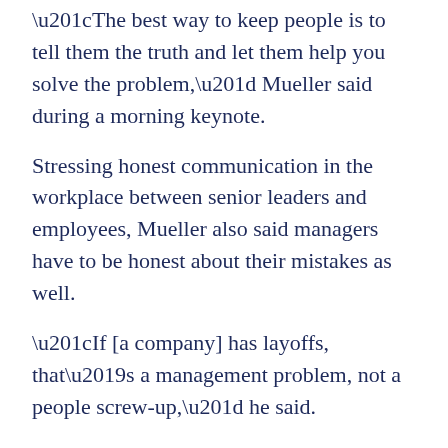“The best way to keep people is to tell them the truth and let them help you solve the problem,” Mueller said during a morning keynote.
Stressing honest communication in the workplace between senior leaders and employees, Mueller also said managers have to be honest about their mistakes as well.
“If [a company] has layoffs, that’s a management problem, not a people screw-up,” he said.
In regards to succession planning, a topic several companies have been forced to visit during this downturn, Mueller has a simple approach.